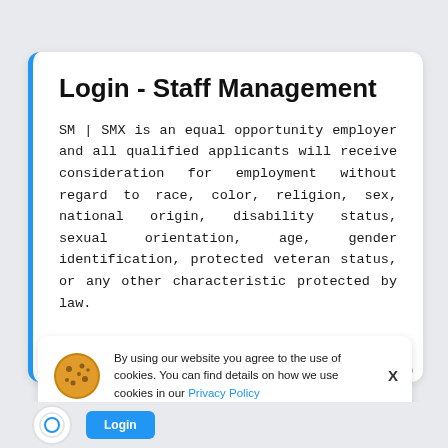Login - Staff Management
SM | SMX is an equal opportunity employer and all qualified applicants will receive consideration for employment without regard to race, color, religion, sex, national origin, disability status, sexual orientation, age, gender identification, protected veteran status, or any other characteristic protected by law.
By using our website you agree to the use of cookies. You can find details on how we use cookies in our Privacy Policy